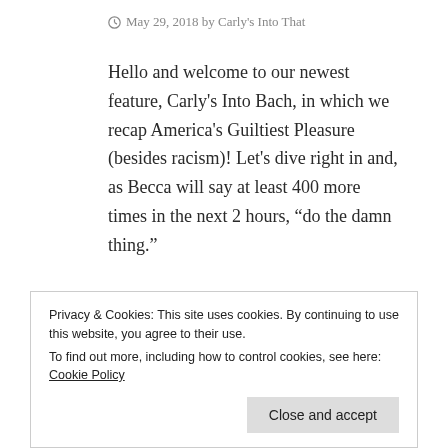May 29, 2018 by Carly's Into That
Hello and welcome to our newest feature, Carly's Into Bach, in which we recap America's Guiltiest Pleasure (besides racism)! Let's dive right in and, as Becca will say at least 400 more times in the next 2 hours, “do the damn thing.”
The premiere begins by replaying the Becca/Arie Airbnb Ambush, which is just as horrible as the first time and makes me want to barf. Chris
Privacy & Cookies: This site uses cookies. By continuing to use this website, you agree to their use.
To find out more, including how to control cookies, see here: Cookie Policy
Close and accept